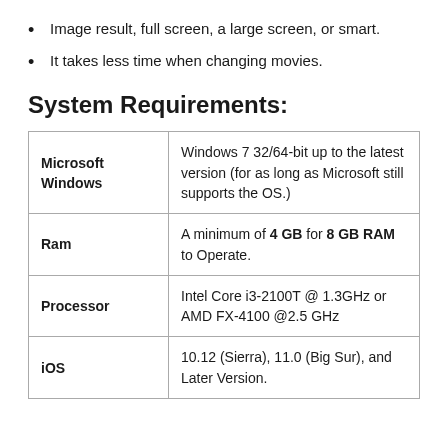Image result, full screen, a large screen, or smart.
It takes less time when changing movies.
System Requirements:
|  |  |
| --- | --- |
| Microsoft Windows | Windows 7 32/64-bit up to the latest version (for as long as Microsoft still supports the OS.) |
| Ram | A minimum of 4 GB for 8 GB RAM to Operate. |
| Processor | Intel Core i3-2100T @ 1.3GHz or AMD FX-4100 @2.5 GHz |
| iOS | 10.12 (Sierra), 11.0 (Big Sur), and Later Version. |